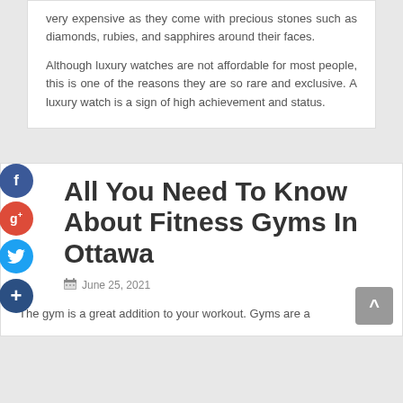very expensive as they come with precious stones such as diamonds, rubies, and sapphires around their faces.
Although luxury watches are not affordable for most people, this is one of the reasons they are so rare and exclusive. A luxury watch is a sign of high achievement and status.
All You Need To Know About Fitness Gyms In Ottawa
June 25, 2021
The gym is a great addition to your workout. Gyms are a